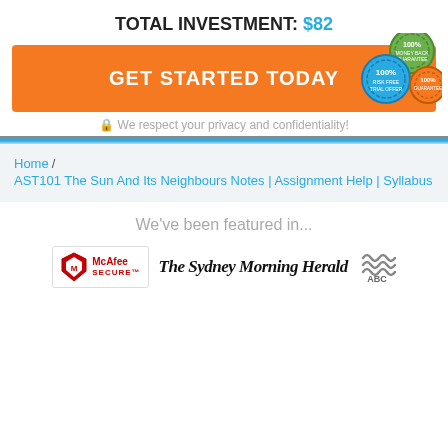TOTAL INVESTMENT: $82
[Figure (infographic): Orange 'GET STARTED TODAY' button with three '100%' guarantee badge seals overlaid on the right side]
We respect your privacy and confidentiality!
Home / AST101 The Sun And Its Neighbours Notes | Assignment Help | Syllabus
We've been featured in...
[Figure (logo): McAfee SECURE logo, The Sydney Morning Herald masthead, ABC logo]